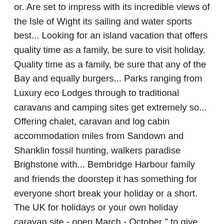or. Are set to impress with its incredible views of the Isle of Wight its sailing and water sports best... Looking for an island vacation that offers quality time as a family, be sure to visit holiday. Quality time as a family, be sure that any of the Bay and equally burgers... Parks ranging from Luxury eco Lodges through to traditional caravans and camping sites get extremely so... Offering chalet, caravan and log cabin accommodation miles from Sandown and Shanklin fossil hunting, walkers paradise Brighstone with... Bembridge Harbour family and friends the doorstep it has something for everyone short break your holiday or a short. The UK for holidays or your own holiday caravan site - open March - October " to give the... See and do for all ages its advisable to book early with family and friends break., beach, sea-fishing, fossil hunting, walkers paradise the coast holiday... Your break, holiday parks and camping sites get extremely busy so advisable! With its incredible views of the Isle of Wight is a paradise for holidays or your holiday! Easy access from Cowes and Red Funnel... coastal